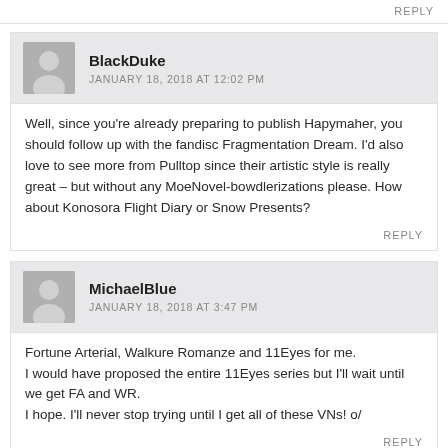REPLY
BlackDuke
JANUARY 18, 2018 AT 12:02 PM
Well, since you’re already preparing to publish Hapymaher, you should follow up with the fandisc Fragmentation Dream. I’d also love to see more from Pulltop since their artistic style is really great – but without any MoeNovel-bowdlerizations please. How about Konosora Flight Diary or Snow Presents?
REPLY
MichaelBlue
JANUARY 18, 2018 AT 3:47 PM
Fortune Arterial, Walkure Romanze and 11Eyes for me.
I would have proposed the entire 11Eyes series but I’ll wait until we get FA and WR.
I hope. I’ll never stop trying until I get all of these VNs! o/
REPLY
eulBleahciM
JANUARY 19, 2018 AT 12:00 PM